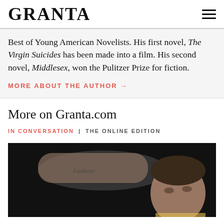GRANTA
Best of Young American Novelists. His first novel, The Virgin Suicides has been made into a film. His second novel, Middlesex, won the Pulitzer Prize for fiction.
MORE ABOUT THE AUTHOR →
More on Granta.com
IN CONVERSATION | THE ONLINE EDITION
[Figure (photo): A man with dark hair, looking to the side; a tattooed arm raised in the background. Black and white/dark toned photograph.]